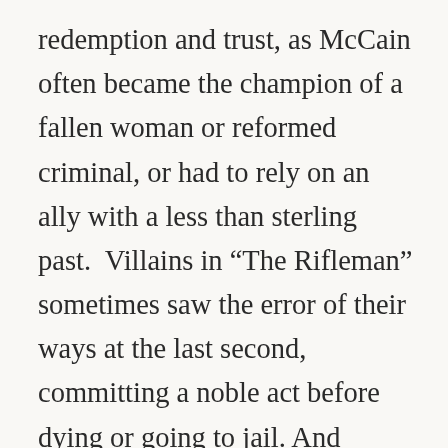redemption and trust, as McCain often became the champion of a fallen woman or reformed criminal, or had to rely on an ally with a less than sterling past. Villains in “The Rifleman” sometimes saw the error of their ways at the last second, committing a noble act before dying or going to jail. And sometimes they didn’t, and got shot with the Winchester. I’m sure that “The Rifleman,” with its gun-happy opening sequence (it presents the